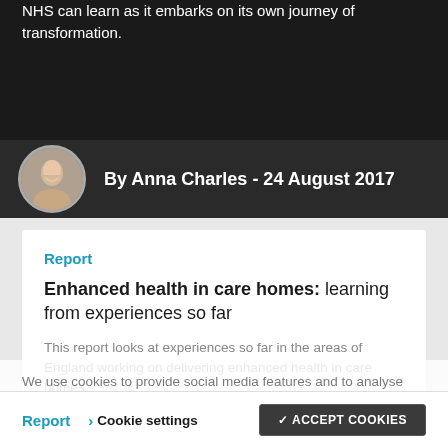NHS can learn as it embarks on its own journey of transformation.
By Anna Charles - 24 August 2017
Report
Enhanced health in care homes: learning from experiences so far
This report looks at experiences so far in the areas of England working on delivering enhanced health in care homes.
By Alex Baylis et al - 5 December 2017
We use cookies to provide social media features and to analyse our traffic. We also share information about your use of our website with our social media and analytics partners. Find out how we collect, use and store your data.
Report
Cookie settings
ACCEPT COOKIES